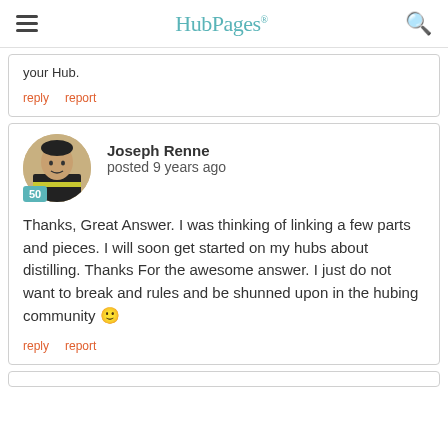HubPages
your Hub.
reply   report
Joseph Renne posted 9 years ago
Thanks, Great Answer. I was thinking of linking a few parts and pieces. I will soon get started on my hubs about distilling. Thanks For the awesome answer. I just do not want to break and rules and be shunned upon in the hubing community 🙂
reply   report